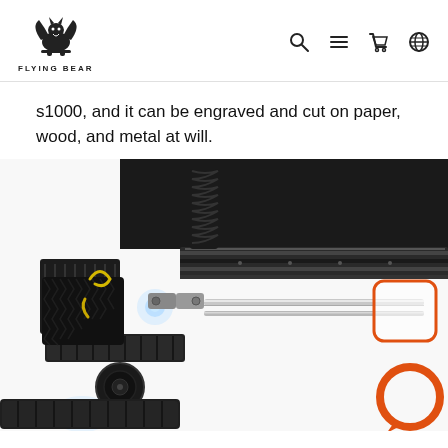FLYING BEAR
s1000, and it can be engraved and cut on paper, wood, and metal at will.
[Figure (photo): Close-up photo of a Flying Bear laser engraver/cutter mechanical assembly showing the laser module, linear rail, lead screw, cable chain, and drive components. An orange rectangle callout highlights the end of the linear rail, and an orange ring (chat/support icon) appears in the bottom right corner.]